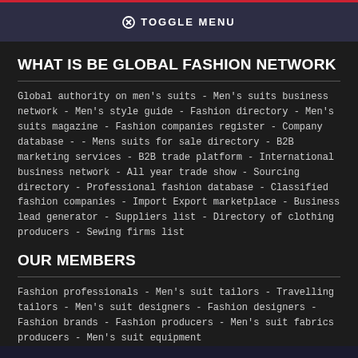TOGGLE MENU
WHAT IS BE GLOBAL FASHION NETWORK
Global authority on men's suits - Men's suits business network - Men's style guide - Fashion directory - Men's suits magazine - Fashion companies register - Company database - - Mens suits for sale directory - B2B marketing services - B2B trade platform - International business network - All year trade show - Sourcing directory - Professional fashion database - Classified fashion companies - Import Export marketplace - Business lead generator - Suppliers list - Directory of clothing producers - Sewing firms list
OUR MEMBERS
Fashion professionals - Men's suit tailors - Travelling tailors - Men's suit designers - Fashion designers - Fashion brands - Fashion producers - Men's suit fabrics producers - Men's suit equipment